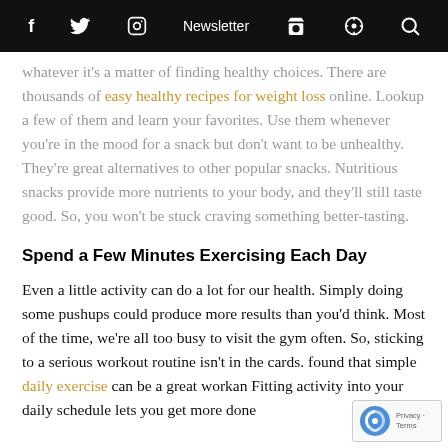f  [twitter]  [instagram]  Newsletter  [cart]  [podcast]  [search]
whatever it's a matter of finding healthy choices. There are thousands of easy healthy recipes for weight loss online. Lookup a few of them and learn your favorites. Use them whenever you're in the mood for a snack but don't want to be unhealthy. They're great alternatives to other popular snacks. Nutritious snacks provide more nutrients to your body, and they'll still taste good. So, you won't be stuck craving something better-tasting.
Spend a Few Minutes Exercising Each Day
Even a little activity can do a lot for our health. Simply doing some pushups could produce more results than you'd think. Most of the time, we're all too busy to visit the gym often. So, sticking to a serious workout routine isn't in the cards. found that simple daily exercise can be a great workan Fitting activity into your daily schedule lets you get more done